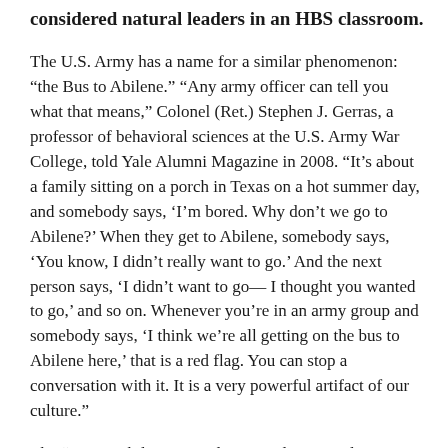considered natural leaders in an HBS classroom.
The U.S. Army has a name for a similar phenomenon: “the Bus to Abilene.” “Any army officer can tell you what that means,” Colonel (Ret.) Stephen J. Gerras, a professor of behavioral sciences at the U.S. Army War College, told Yale Alumni Magazine in 2008. “It’s about a family sitting on a porch in Texas on a hot summer day, and somebody says, ‘I’m bored. Why don’t we go to Abilene?’ When they get to Abilene, somebody says, ‘You know, I didn’t really want to go.’ And the next person says, ‘I didn’t want to go— I thought you wanted to go,’ and so on. Whenever you’re in an army group and somebody says, ‘I think we’re all getting on the bus to Abilene here,’ that is a red flag. You can stop a conversation with it. It is a very powerful artifact of our culture.”
The “Bus to Abilene” anecdote reveals our tendency to follow the crowd, inviting caution...